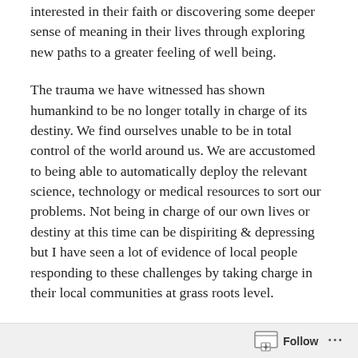interested in their faith or discovering some deeper sense of meaning in their lives through exploring new paths to a greater feeling of well being.
The trauma we have witnessed has shown humankind to be no longer totally in charge of its destiny. We find ourselves unable to be in total control of the world around us. We are accustomed to being able to automatically deploy the relevant science, technology or medical resources to sort our problems. Not being in charge of our own lives or destiny at this time can be dispiriting & depressing but I have seen a lot of evidence of local people responding to these challenges by taking charge in their local communities at grass roots level.
Up and down the country we have seen new neighbourhood groups, revitalised local charities in villages and in the heart of our towns and people